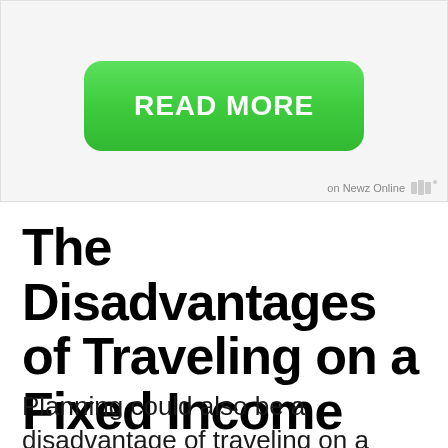[Figure (screenshot): Advertisement banner with a green 'READ MORE' button on a light gray background, with 'on Newz Online' text and a logo in the bottom right corner]
The Disadvantages of Traveling on a Fixed Income
Planning could also be a disadvantage of traveling on a fixed